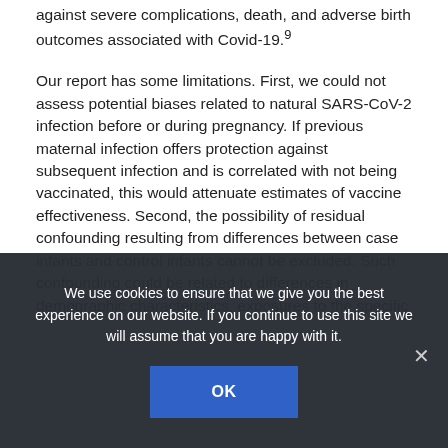against severe complications, death, and adverse birth outcomes associated with Covid-19.⁹
Our report has some limitations. First, we could not assess potential biases related to natural SARS-CoV-2 infection before or during pregnancy. If previous maternal infection offers protection against subsequent infection and is correlated with not being vaccinated, this would attenuate estimates of vaccine effectiveness. Second, the possibility of residual confounding resulting from differences between case infants and control infants cannot be excluded. Such confounding could be related to differences in demographic characteristics, exposures to the specific
We use cookies to ensure that we give you the best experience on our website. If you continue to use this site we will assume that you are happy with it.